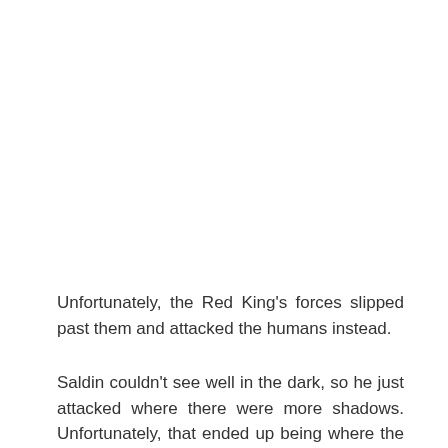Unfortunately, the Red King's forces slipped past them and attacked the humans instead.
Saldin couldn't see well in the dark, so he just attacked where there were more shadows. Unfortunately, that ended up being where the people of the borderlands were.